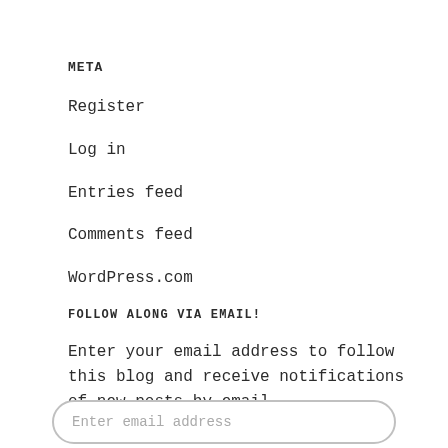META
Register
Log in
Entries feed
Comments feed
WordPress.com
FOLLOW ALONG VIA EMAIL!
Enter your email address to follow this blog and receive notifications of new posts by email.
Enter email address